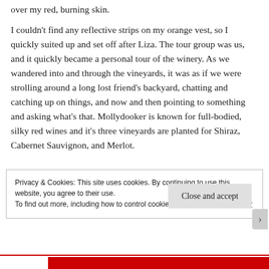over my red, burning skin.
I couldn't find any reflective strips on my orange vest, so I quickly suited up and set off after Liza. The tour group was us, and it quickly became a personal tour of the winery. As we wandered into and through the vineyards, it was as if we were strolling around a long lost friend's backyard, chatting and catching up on things, and now and then pointing to something and asking what's that. Mollydooker is known for full-bodied, silky red wines and it's three vineyards are planted for Shiraz, Cabernet Sauvignon, and Merlot.
Privacy & Cookies: This site uses cookies. By continuing to use this website, you agree to their use.
To find out more, including how to control cookies, see here: Cookie Policy
Close and accept